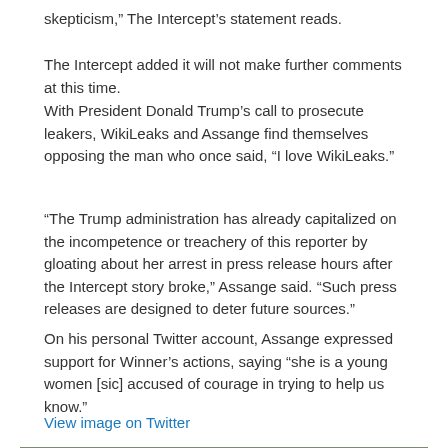skepticism,” The Intercept’s statement reads.
The Intercept added it will not make further comments at this time.
With President Donald Trump’s call to prosecute leakers, WikiLeaks and Assange find themselves opposing the man who once said, “I love WikiLeaks.”
“The Trump administration has already capitalized on the incompetence or treachery of this reporter by gloating about her arrest in press release hours after the Intercept story broke,” Assange said. “Such press releases are designed to deter future sources.”
On his personal Twitter account, Assange expressed support for Winner’s actions, saying “she is a young women [sic] accused of courage in trying to help us know.”
View image on Twitter
[Figure (photo): Aerial view of ancient stone ruins or terraced structures surrounded by green grass and trees in an overcast setting.]